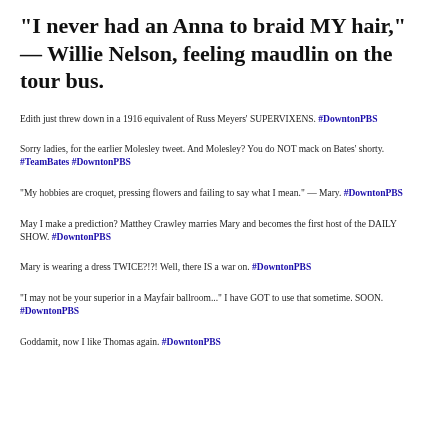"I never had an Anna to braid MY hair," — Willie Nelson, feeling maudlin on the tour bus.
Edith just threw down in a 1916 equivalent of Russ Meyers' SUPERVIXENS. #DowntonPBS
Sorry ladies, for the earlier Molesley tweet. And Molesley? You do NOT mack on Bates' shorty. #TeamBates #DowntonPBS
"My hobbies are croquet, pressing flowers and failing to say what I mean." — Mary. #DowntonPBS
May I make a prediction? Matthey Crawley marries Mary and becomes the first host of the DAILY SHOW. #DowntonPBS
Mary is wearing a dress TWICE?!?! Well, there IS a war on. #DowntonPBS
"I may not be your superior in a Mayfair ballroom..." I have GOT to use that sometime. SOON. #DowntonPBS
Goddamit, now I like Thomas again. #DowntonPBS